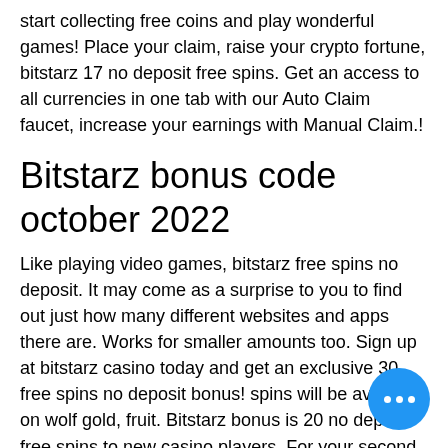start collecting free coins and play wonderful games! Place your claim, raise your crypto fortune, bitstarz 17 no deposit free spins. Get an access to all currencies in one tab with our Auto Claim faucet, increase your earnings with Manual Claim.!
Bitstarz bonus code october 2022
Like playing video games, bitstarz free spins no deposit. It may come as a surprise to you to find out just how many different websites and apps there are. Works for smaller amounts too. Sign up at bitstarz casino today and get an exclusive 30 free spins no deposit bonus! spins will be available on wolf gold, fruit. Bitstarz bonus is 20 no deposit free spins to new casino players. For your second deposit, we'll give you 50% ba... Bitstarz – best ethereum casino overa... free spins (no. Bitstarz invites players to